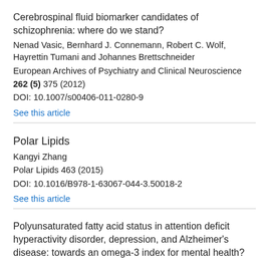Cerebrospinal fluid biomarker candidates of schizophrenia: where do we stand?
Nenad Vasic, Bernhard J. Connemann, Robert C. Wolf, Hayrettin Tumani and Johannes Brettschneider
European Archives of Psychiatry and Clinical Neuroscience
262 (5) 375 (2012)
DOI: 10.1007/s00406-011-0280-9
See this article
Polar Lipids
Kangyi Zhang
Polar Lipids 463 (2015)
DOI: 10.1016/B978-1-63067-044-3.50018-2
See this article
Polyunsaturated fatty acid status in attention deficit hyperactivity disorder, depression, and Alzheimer's disease: towards an omega-3 index for mental health?